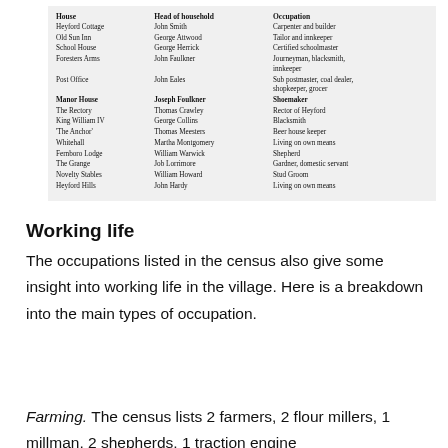| House | Head of household | Occupation |
| --- | --- | --- |
| Heyford Cottage | John Smith | Carpenter and builder |
| Old Sun Inn | George Attwood | Tailor and innkeeper |
| School House | George Herrick | Certified schoolmaster |
| Foresters Arms | John Faulkner | Journeyman, blacksmith, innkeeper |
| Post Office | John Eales | Sub postmaster, coal dealer, shopkeeper, grocer |
| Manor House | Joseph Foulkner | Shoemaker |
| The Rectory | Thomas Crawley | Rector of Heyford |
| King William IV | George Collins | Blacksmith |
| 'The Anchor' | Thomas Meesters | Beer house keeper |
| Whitehall | Martha Montgomery | Living on own means |
| Fernboro Lodge | William Warwick | Shepherd |
| The Grange | Job Lorrimore | Gardner, domestic servant |
| Novelty Stables | William Howard | Stud Groom |
| Heyford Hills | John Hardy | Living on own means |
Working life
The occupations listed in the census also give some insight into working life in the village. Here is a breakdown into the main types of occupation.
Farming. The census lists 2 farmers, 2 flour millers, 1 millman, 2 shepherds, 1 traction engine...